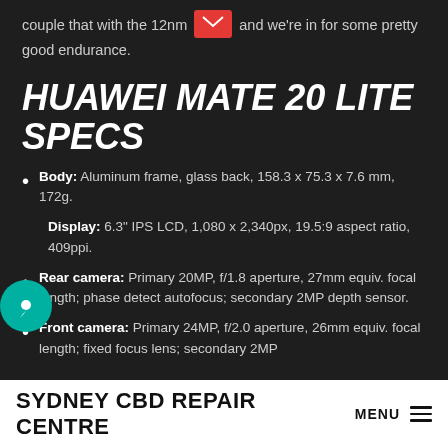couple that with the 12nm [icon] and we're in for some pretty good endurance.
HUAWEI MATE 20 LITE SPECS
Body: Aluminum frame, glass back, 158.3 x 75.3 x 7.6 mm, 172g.
Display: 6.3" IPS LCD, 1,080 x 2,340px, 19.5:9 aspect ratio, 409ppi.
Rear camera: Primary 20MP, f/1.8 aperture, 27mm equiv. focal length; phase detect autofocus; secondary 2MP depth sensor.
Front camera: Primary 24MP, f/2.0 aperture, 26mm equiv. focal length; fixed focus lens; secondary 2MP
SYDNEY CBD REPAIR CENTRE  MENU ≡